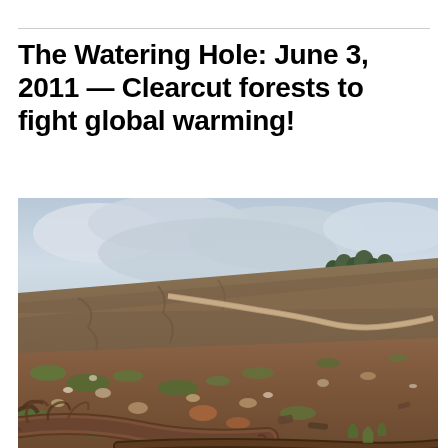The Watering Hole: June 3, 2011 — Clearcut forests to fight global warming!
[Figure (photo): Photograph of a clearcut hillside showing bare eroded slopes with reddish-brown soil, scattered green grass patches, exposed roots and fallen logs in the foreground, a winding dirt road mid-ground, and an overcast sky.]